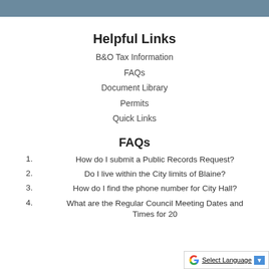Helpful Links
B&O Tax Information
FAQs
Document Library
Permits
Quick Links
FAQs
1. How do I submit a Public Records Request?
2. Do I live within the City limits of Blaine?
3. How do I find the phone number for City Hall?
4. What are the Regular Council Meeting Dates and Times for 20...